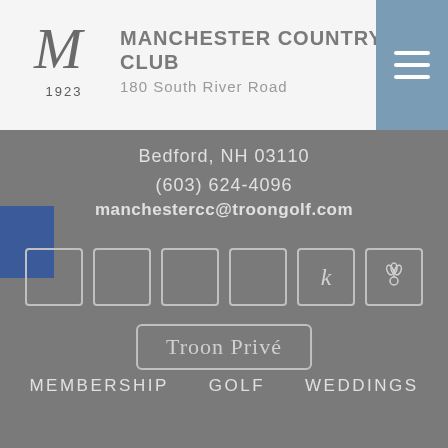MANCHESTER COUNTRY CLUB
180 South River Road
Bedford, NH 03110
Bedford, NH 03110
(603) 624-4096
manchestercc@troongolf.com
[Figure (logo): Troon Privé logo with decorative border]
MEMBERSHIP
GOLF
WEDDINGS